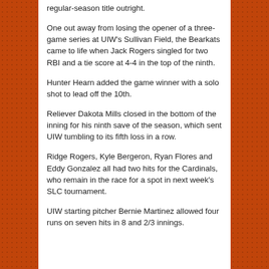regular-season title outright.
One out away from losing the opener of a three-game series at UIW's Sullivan Field, the Bearkats came to life when Jack Rogers singled for two RBI and a tie score at 4-4 in the top of the ninth.
Hunter Hearn added the game winner with a solo shot to lead off the 10th.
Reliever Dakota Mills closed in the bottom of the inning for his ninth save of the season, which sent UIW tumbling to its fifth loss in a row.
Ridge Rogers, Kyle Bergeron, Ryan Flores and Eddy Gonzalez all had two hits for the Cardinals, who remain in the race for a spot in next week's SLC tournament.
UIW starting pitcher Bernie Martinez allowed four runs on seven hits in 8 and 2/3 innings.